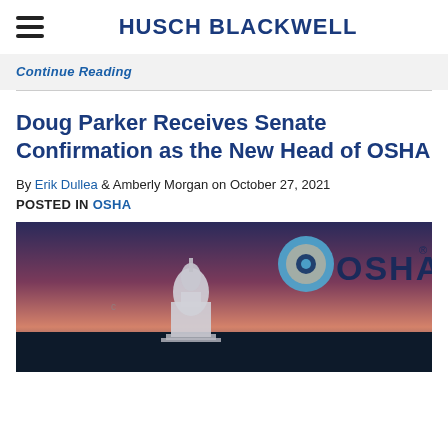HUSCH BLACKWELL
Continue Reading
Doug Parker Receives Senate Confirmation as the New Head of OSHA
By Erik Dullea & Amberly Morgan on October 27, 2021
POSTED IN OSHA
[Figure (photo): Photo of the US Capitol building at dusk/dawn with OSHA logo overlaid in the upper right corner. The sky shows pink and purple sunset/sunrise colors. The OSHA logo features a blue and gray circular icon next to the text OSHA with a registered trademark symbol.]